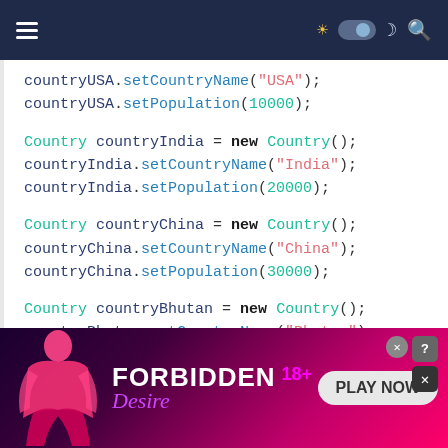Navigation bar with hamburger menu, sun/moon toggle, and search icon
[Figure (screenshot): Code snippet showing Java object instantiation for Country objects (USA, India, China, Bhutan) with setCountryName and setPopulation method calls]
[Figure (other): Advertisement banner: FORBIDDEN Desire 18+ PLAY NOW]